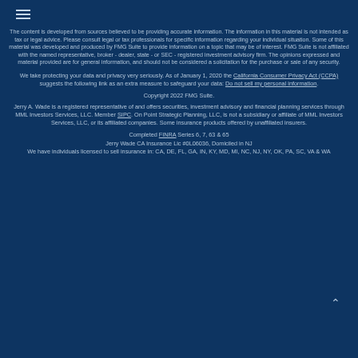The content is developed from sources believed to be providing accurate information. The information in this material is not intended as tax or legal advice. Please consult legal or tax professionals for specific information regarding your individual situation. Some of this material was developed and produced by FMG Suite to provide information on a topic that may be of interest. FMG Suite is not affiliated with the named representative, broker - dealer, state - or SEC - registered investment advisory firm. The opinions expressed and material provided are for general information, and should not be considered a solicitation for the purchase or sale of any security.
We take protecting your data and privacy very seriously. As of January 1, 2020 the California Consumer Privacy Act (CCPA) suggests the following link as an extra measure to safeguard your data: Do not sell my personal information.
Copyright 2022 FMG Suite.
Jerry A. Wade is a registered representative of and offers securities, investment advisory and financial planning services through MML Investors Services, LLC. Member SIPC. On Point Strategic Planning, LLC, is not a subsidiary or affiliate of MML Investors Services, LLC, or its affiliated companies. Some insurance products offered by unaffiliated insurers.
Completed FINRA Series 6, 7, 63 & 65
Jerry Wade CA Insurance Lic #0L06036, Domiciled in NJ
We have individuals licensed to sell insurance in: CA, DE, FL, GA, IN, KY, MD, MI, NC, NJ, NY, OK, PA, SC, VA & WA